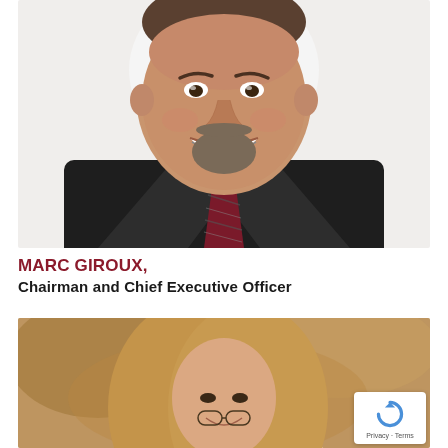[Figure (photo): Professional headshot of Marc Giroux, a middle-aged man with a goatee, wearing a dark button-up shirt and a dark red/maroon striped tie, smiling against a white background.]
MARC GIROUX,
Chairman and Chief Executive Officer
[Figure (photo): Partial photo of a woman with long light-brown hair, smiling, photographed outdoors with a warm sandy/rock background.]